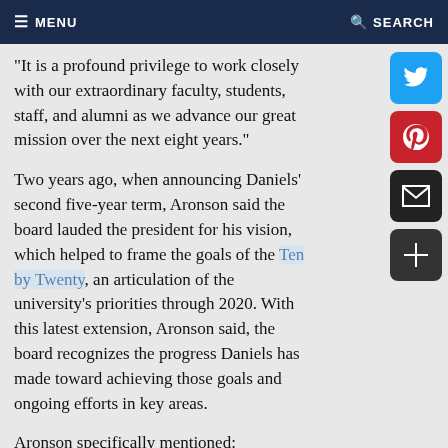MENU   SEARCH
"It is a profound privilege to work closely with our extraordinary faculty, students, staff, and alumni as we advance our great mission over the next eight years."
Two years ago, when announcing Daniels' second five-year term, Aronson said the board lauded the president for his vision, which helped to frame the goals of the Ten by Twenty, an articulation of the university's priorities through 2020. With this latest extension, Aronson said, the board recognizes the progress Daniels has made toward achieving those goals and ongoing efforts in key areas.
Aronson specifically mentioned:
The recruitment of 50 Bloomberg Distinguished Professors, world-class